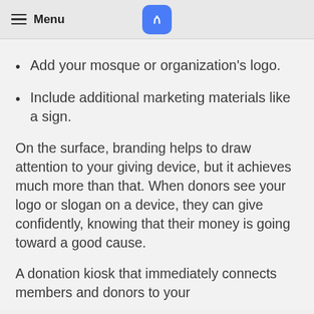Menu
Add your mosque or organization's logo.
Include additional marketing materials like a sign.
On the surface, branding helps to draw attention to your giving device, but it achieves much more than that. When donors see your logo or slogan on a device, they can give confidently, knowing that their money is going toward a good cause.
A donation kiosk that immediately connects members and donors to your